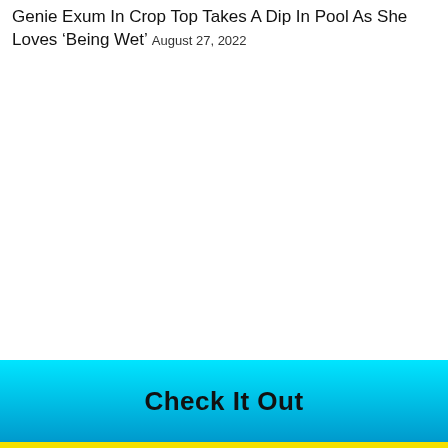Genie Exum In Crop Top Takes A Dip In Pool As She Loves 'Being Wet' August 27, 2022
[Figure (other): Large white/blank area in the center of the page where an image would appear]
Check It Out